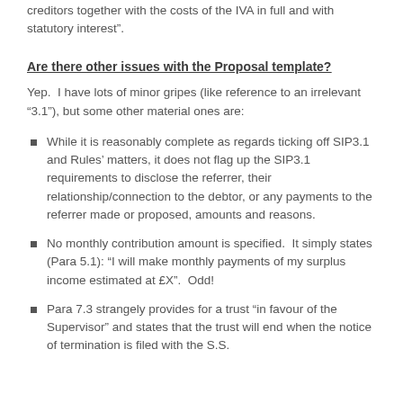creditors together with the costs of the IVA in full and with statutory interest”.
Are there other issues with the Proposal template?
Yep.  I have lots of minor gripes (like reference to an irrelevant “3.1”), but some other material ones are:
While it is reasonably complete as regards ticking off SIP3.1 and Rules’ matters, it does not flag up the SIP3.1 requirements to disclose the referrer, their relationship/connection to the debtor, or any payments to the referrer made or proposed, amounts and reasons.
No monthly contribution amount is specified.  It simply states (Para 5.1): “I will make monthly payments of my surplus income estimated at £X”.  Odd!
Para 7.3 strangely provides for a trust “in favour of the Supervisor” and states that the trust will end when the notice of termination is filed with the S.S.